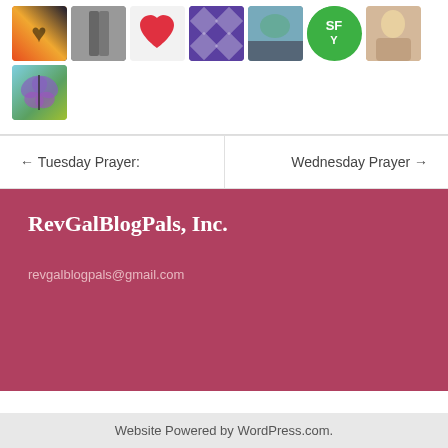[Figure (photo): Grid of avatar/profile images: heart hands silhouette against sunset, legs photo, red heart, purple geometric pattern, nature scene, green circle with SFY text, blonde person, butterfly illustration]
← Tuesday Prayer:
Wednesday Prayer →
RevGalBlogPals, Inc.
revgalblogpals@gmail.com
Website Powered by WordPress.com.